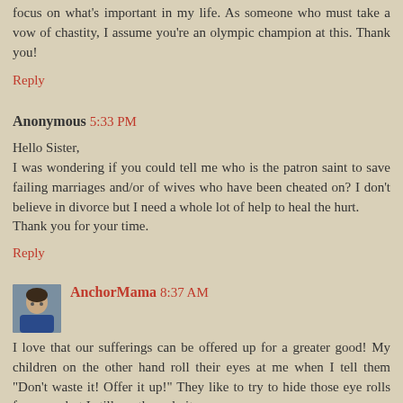focus on what's important in my life. As someone who must take a vow of chastity, I assume you're an olympic champion at this. Thank you!
Reply
Anonymous 5:33 PM
Hello Sister,
I was wondering if you could tell me who is the patron saint to save failing marriages and/or of wives who have been cheated on? I don't believe in divorce but I need a whole lot of help to heal the hurt.
Thank you for your time.
Reply
AnchorMama 8:37 AM
I love that our sufferings can be offered up for a greater good! My children on the other hand roll their eyes at me when I tell them "Don't waste it! Offer it up!" They like to try to hide those eye rolls from me, but I still see them do it.